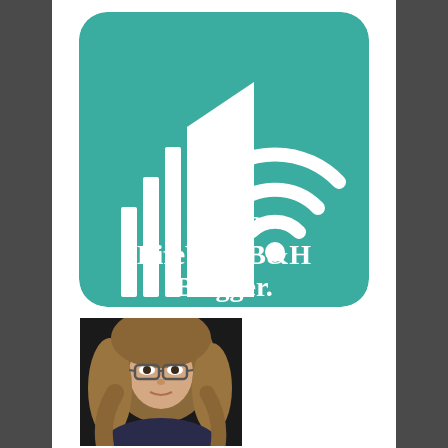[Figure (logo): LifeWay/B&H Blogger badge: teal rounded square with white open book and WiFi signal icon, text 'I am a LifeWay/B&H Blogger.']
[Figure (photo): Portrait photo of a woman with long light brown hair and glasses, against a dark background, cropped at shoulders]